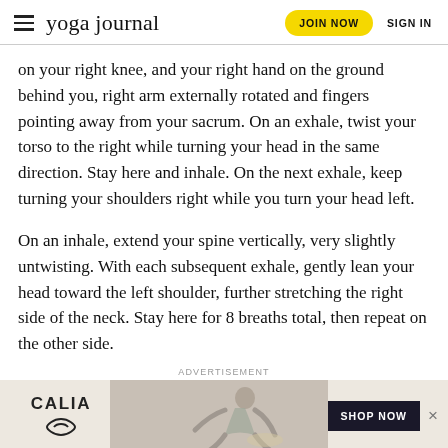yoga journal | JOIN NOW | SIGN IN
on your right knee, and your right hand on the ground behind you, right arm externally rotated and fingers pointing away from your sacrum. On an exhale, twist your torso to the right while turning your head in the same direction. Stay here and inhale. On the next exhale, keep turning your shoulders right while you turn your head left.
On an inhale, extend your spine vertically, very slightly untwisting. With each subsequent exhale, gently lean your head toward the left shoulder, further stretching the right side of the neck. Stay here for 8 breaths total, then repeat on the other side.
ADVERTISEMENT
[Figure (photo): CALIA advertisement banner showing a woman in a yoga pose with 'SHOP NOW' button]